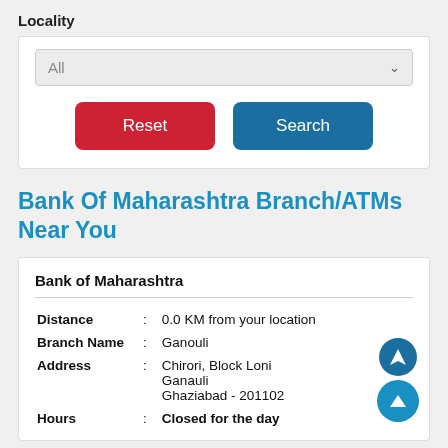Locality
All
Reset
Search
Bank Of Maharashtra Branch/ATMs Near You
Bank of Maharashtra
| Distance | : | 0.0 KM from your location |
| Branch Name | : | Ganouli |
| Address | : | Chirori, Block Loni Ganauli Ghaziabad - 201102 |
| Hours | : | Closed for the day |